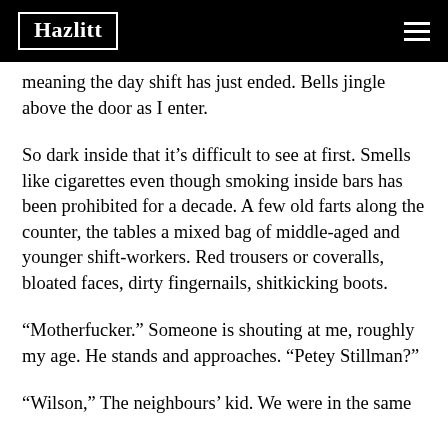Hazlitt
meaning the day shift has just ended. Bells jingle above the door as I enter.
So dark inside that it’s difficult to see at first. Smells like cigarettes even though smoking inside bars has been prohibited for a decade. A few old farts along the counter, the tables a mixed bag of middle-aged and younger shift-workers. Red trousers or coveralls, bloated faces, dirty fingernails, shitkicking boots.
“Motherfucker.” Someone is shouting at me, roughly my age. He stands and approaches. “Petey Stillman?”
“Wilson,” The neighbours’ kid. We were in the same